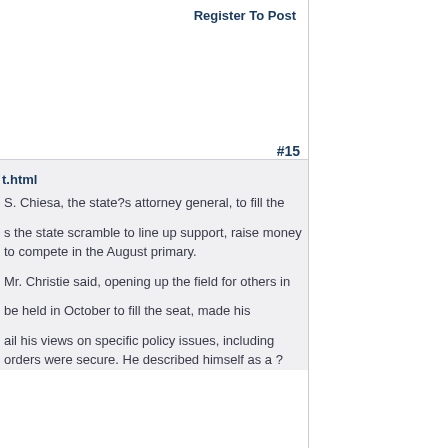Register To Post
#15
t.html
S. Chiesa, the state?s attorney general, to fill the
s the state scramble to line up support, raise money to compete in the August primary.
Mr. Christie said, opening up the field for others in
be held in October to fill the seat, made his
ail his views on specific policy issues, including orders were secure. He described himself as a ?
Login
Username:
Password:
Remember me
User Login